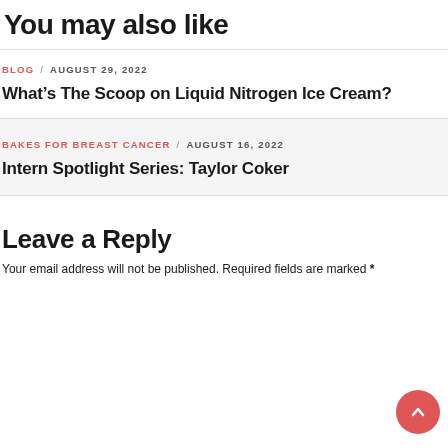You may also like
BLOG / AUGUST 29, 2022
What's The Scoop on Liquid Nitrogen Ice Cream?
BAKES FOR BREAST CANCER / AUGUST 16, 2022
Intern Spotlight Series: Taylor Coker
Leave a Reply
Your email address will not be published. Required fields are marked *